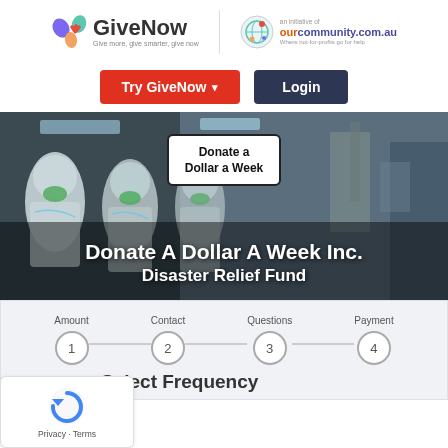[Figure (logo): GiveNow logo with colorful hearts icon and tagline 'Give more, give smarter, give now']
[Figure (logo): Our Community logo with globe icon and text 'ourcommunity.com.au - Where not-for-profits go for help']
[Figure (screenshot): Button: 'Try GiveNow' in red with dropdown arrow]
[Figure (screenshot): Button: 'Login' in dark navy blue]
[Figure (photo): Hero image of medical workers in full PPE/hazmat suits in a medical facility, with 'Donate a Dollar a Week' badge overlay]
Donate A Dollar A Week Inc.
Disaster Relief Fund
[Figure (infographic): 4-step donation process: Amount (1), Contact (2), Questions (3), Payment (4) shown as numbered circles connected by lines]
Select Frequency
[Figure (other): reCAPTCHA widget with Privacy and Terms links]